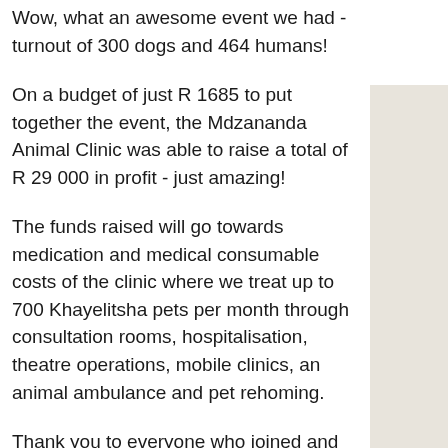Wow, what an awesome event we had - turnout of 300 dogs and 464 humans!
On a budget of just R 1685 to put together the event, the Mdzananda Animal Clinic was able to raise a total of R 29 000 in profit - just amazing!
The funds raised will go towards medication and medical consumable costs of the clinic where we treat up to 700 Khayelitsha pets per month through consultation rooms, hospitalisation, theatre operations, mobile clinics, an animal ambulance and pet rehoming.
Thank you to everyone who joined and made this possible.